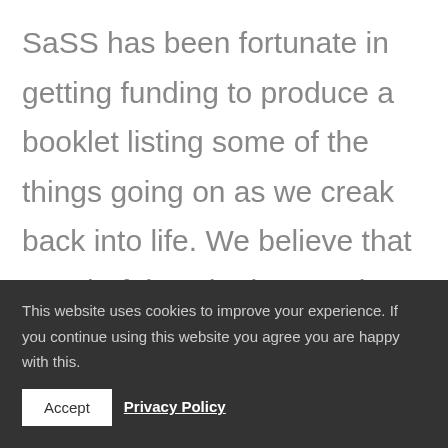SaSS has been fortunate in getting funding to produce a booklet listing some of the things going on as we creak back into life. We believe that wonderful as the internet is, sometimes it is really good to have
This website uses cookies to improve your experience. If you continue using this website you agree you are happy with this.
Accept   Privacy Policy